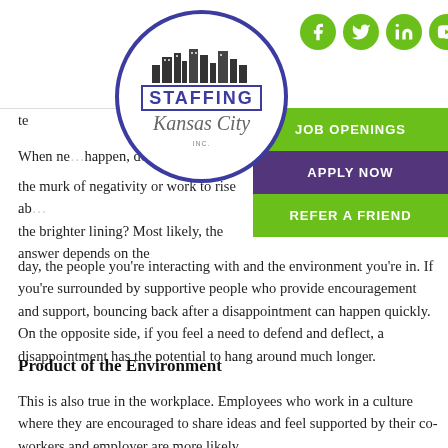Staffing Kansas City — website header with logo, social icons, hamburger menu, and navigation buttons: JOB OPENINGS, APPLY NOW, REFER A FRIEND
te
When ne... happen, do you d... the murk of negativity or work to rise ab... the brighter lining? Most likely, the answer depends on the day, the people you’re interacting with and the environment you’re in. If you’re surrounded by supportive people who provide encouragement and support, bouncing back after a disappointment can happen quickly. On the opposite side, if you feel a need to defend and deflect, a disappointment has the potential to hang around much longer.
Product of the Environment
This is also true in the workplace. Employees who work in a culture where they are encouraged to share ideas and feel supported by their co-workers and employer are more likely